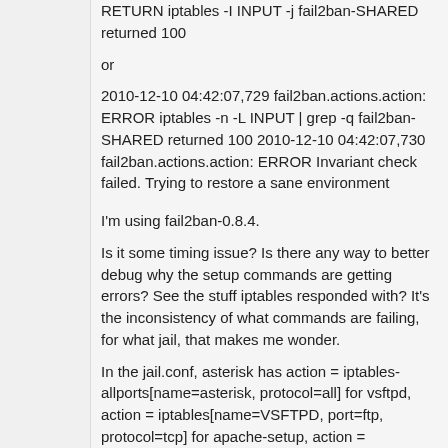RETURN iptables -I INPUT -j fail2ban-SHARED returned 100
or
2010-12-10 04:42:07,729 fail2ban.actions.action: ERROR iptables -n -L INPUT | grep -q fail2ban-SHARED returned 100 2010-12-10 04:42:07,730 fail2ban.actions.action: ERROR Invariant check failed. Trying to restore a sane environment
I'm using fail2ban-0.8.4.
Is it some timing issue? Is there any way to better debug why the setup commands are getting errors? See the stuff iptables responded with? It's the inconsistency of what commands are failing, for what jail, that makes me wonder.
In the jail.conf, asterisk has action = iptables-allports[name=asterisk, protocol=all] for vsftpd, action = iptables[name=VSFTPD, port=ftp, protocol=tcp] for apache-setup, action = iptables[name=APACHE_SETUP,